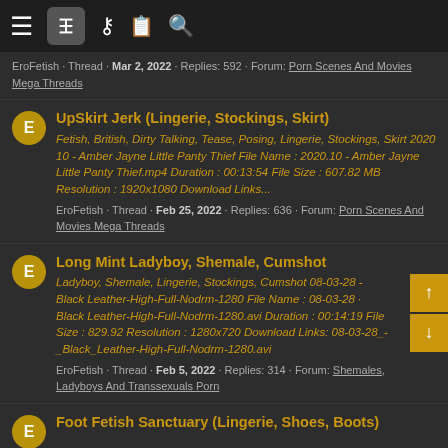Navigation bar with menu, filter, list, and search icons
EroFetish · Thread · Mar 2, 2022 · Replies: 592 · Forum: Porn Scenes And Movies Mega Threads
UpSkirt Jerk (Lingerie, Stockings, Skirt)
Fetish, British, Dirty Talking, Tease, Posing, Lingerie, Stockings, Skirt 2020 10 - Amber Jayne Little Panty Thief File Name : 2020.10 - Amber Jayne Little Panty Thief.mp4 Duration : 00:13:54 File Size : 607.82 MB Resolution : 1920x1080 Download Links...
EroFetish · Thread · Feb 25, 2022 · Replies: 636 · Forum: Porn Scenes And Movies Mega Threads
Long Mint Ladyboy, Shemale, Cumshot
Ladyboy, Shemale, Lingerie, Stockings, Cumshot 08-03-28 - Black Leather-High-Full-Nodrm-1280 File Name : 08-03-28 - Black Leather-High-Full-Nodrm-1280.avi Duration : 00:14:19 File Size : 829.92 Resolution : 1280x720 Download Links: 08-03-28_-_Black_Leather-High-Full-Nodrm-1280.avi
EroFetish · Thread · Feb 5, 2022 · Replies: 314 · Forum: Shemales, Ladyboys And Transsexuals Porn
Foot Fetish Sanctuary (Lingerie, Shoes, Boots)